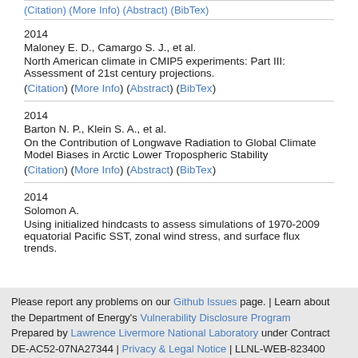(Citation) (More Info) (Abstract) (BibTex)
2014
Maloney E. D., Camargo S. J., et al.
North American climate in CMIP5 experiments: Part III: Assessment of 21st century projections.
(Citation) (More Info) (Abstract) (BibTex)
2014
Barton N. P., Klein S. A., et al.
On the Contribution of Longwave Radiation to Global Climate Model Biases in Arctic Lower Tropospheric Stability
(Citation) (More Info) (Abstract) (BibTex)
2014
Solomon A.
Using initialized hindcasts to assess simulations of 1970-2009 equatorial Pacific SST, zonal wind stress, and surface flux trends.
Please report any problems on our Github Issues page. | Learn about the Department of Energy's Vulnerability Disclosure Program
Prepared by Lawrence Livermore National Laboratory under Contract DE-AC52-07NA27344 | Privacy & Legal Notice | LLNL-WEB-823400